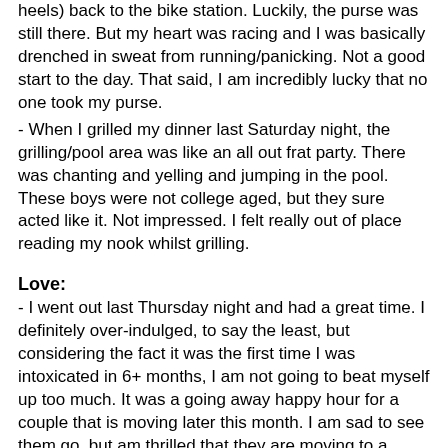heels) back to the bike station.  Luckily, the purse was still there.  But my heart was racing and I was basically drenched in sweat from running/panicking.  Not a good start to the day.  That said, I am incredibly lucky that no one took my purse.
- When I grilled my dinner last Saturday night, the grilling/pool area was like an all out frat party.  There was chanting and yelling and jumping in the pool.  These boys were not college aged, but they sure acted like it.  Not impressed.  I felt really out of place reading my nook whilst grilling.
Love:
- I went out last Thursday night and had a great time. I definitely over-indulged, to say the least, but considering the fact it was the first time I was intoxicated in 6+ months, I am not going to beat myself up too much.  It was a going away happy hour for a couple that is moving later this month.  I am sad to see them go, but am thrilled that they are moving to a location that is pretty cheap to fly to!
- My brother set up my patio furniture so I am now able to utilize that space!  I ate my first meal outdoors on Tuesday